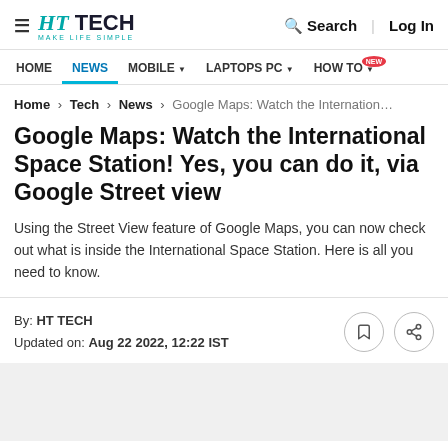HT TECH — MAKE LIFE SIMPLE | Search | Log In
HOME | NEWS | MOBILE | LAPTOPS PC | HOW TO NEW
Home > Tech > News > Google Maps: Watch the Internation…
Google Maps: Watch the International Space Station! Yes, you can do it, via Google Street view
Using the Street View feature of Google Maps, you can now check out what is inside the International Space Station. Here is all you need to know.
By: HT TECH
Updated on: Aug 22 2022, 12:22 IST